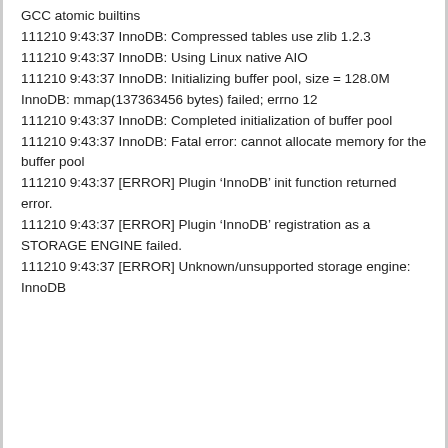GCC atomic builtins
111210 9:43:37 InnoDB: Compressed tables use zlib 1.2.3
111210 9:43:37 InnoDB: Using Linux native AIO
111210 9:43:37 InnoDB: Initializing buffer pool, size = 128.0M
InnoDB: mmap(137363456 bytes) failed; errno 12
111210 9:43:37 InnoDB: Completed initialization of buffer pool
111210 9:43:37 InnoDB: Fatal error: cannot allocate memory for the buffer pool
111210 9:43:37 [ERROR] Plugin ‘InnoDB’ init function returned error.
111210 9:43:37 [ERROR] Plugin ‘InnoDB’ registration as a STORAGE ENGINE failed.
111210 9:43:37 [ERROR] Unknown/unsupported storage engine: InnoDB